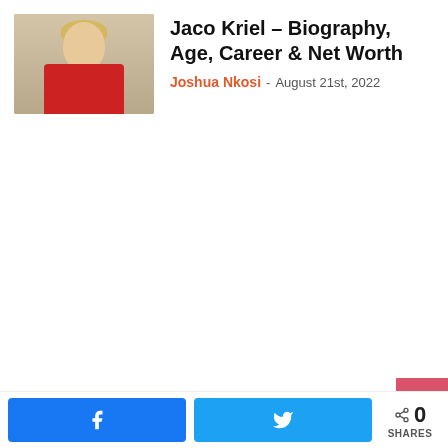[Figure (photo): Photo of Jaco Kriel in a red sleeveless rugby shirt, short blond hair, indoor background]
Jaco Kriel – Biography, Age, Career & Net Worth
Joshua Nkosi - August 21st, 2022